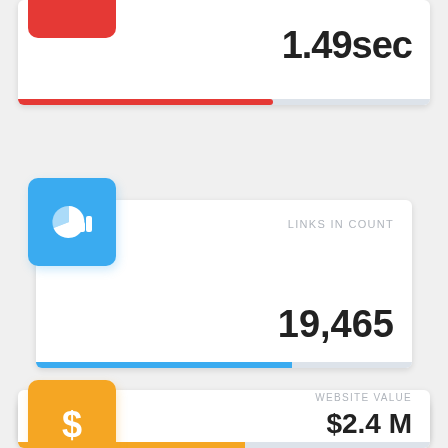1.49sec
[Figure (infographic): Red progress bar showing partial fill, approximately 62% filled in red, rest in light grey]
[Figure (infographic): Blue square badge with white pie chart icon]
LINKS IN COUNT
19,465
[Figure (infographic): Blue progress bar showing partial fill, approximately 68% filled in blue, rest in light grey]
[Figure (infographic): Orange square badge with white dollar sign icon]
WEBSITE VALUE
$2.4 M
[Figure (infographic): Orange progress bar at bottom of page, partially visible]